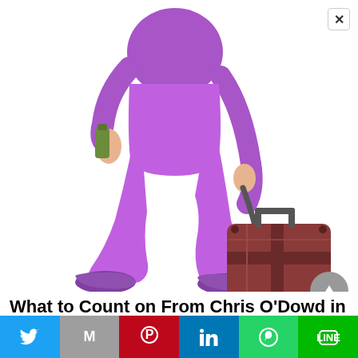[Figure (illustration): Illustration of a person dressed in purple walking and pulling a brown rolling suitcase, holding a green water bottle in their other hand. Only the lower body and hands are visible.]
What to Count on From Chris O'Dowd in
[Figure (other): Social media sharing bar with Twitter, Gmail, Pinterest, LinkedIn, WhatsApp, and LINE buttons]